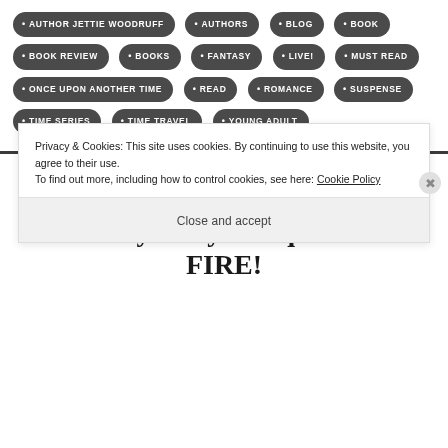AUTHOR JETTIE WOODRUFF
AUTHORS
BLOG
BOOK
BOOK REVIEW
BOOKS
FANTASY
LIVE!
MUST READ
ONCE UPON ANOTHER TIME
READ
ROMANCE
SUSPENSE
TIME SERIES
TIME TRAVEL
YOUNG ADULT
Have You Heard? Lament of The Fallen by Andy Peloquin is ON FIRE!
Privacy & Cookies: This site uses cookies. By continuing to use this website, you agree to their use. To find out more, including how to control cookies, see here: Cookie Policy
Close and accept